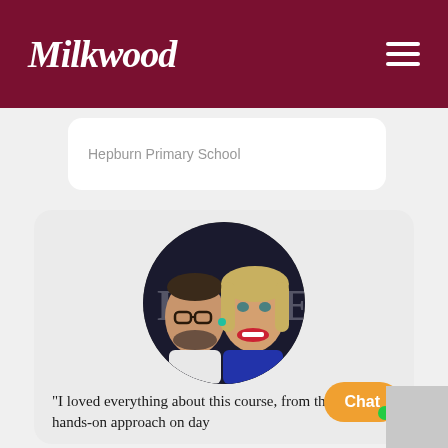Milkwood
Hepburn Primary School
[Figure (photo): Circular portrait photo of two people smiling, a man with glasses and beard on the left, a woman with blonde hair and red lipstick on the right, in front of a dark background with partial text 'HOUSE']
“I loved everything about this course, from the practical hands-on approach on day